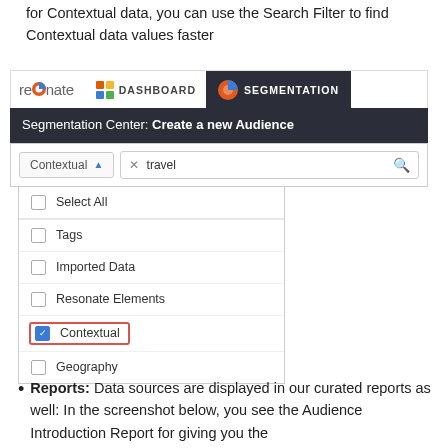for Contextual data, you can use the Search Filter to find Contextual data values faster
[Figure (screenshot): Screenshot of Resonate platform showing Segmentation Center with a dropdown filter open. The dropdown shows options: Select All, Tags, Imported Data, Resonate Elements, Contextual (checked, highlighted with red border), Geography. The search bar shows 'travel' typed in with a Contextual filter selected.]
Reports: Data sources are displayed in our curated reports as well: In the screenshot below, you see the Audience Introduction Report for giving you the